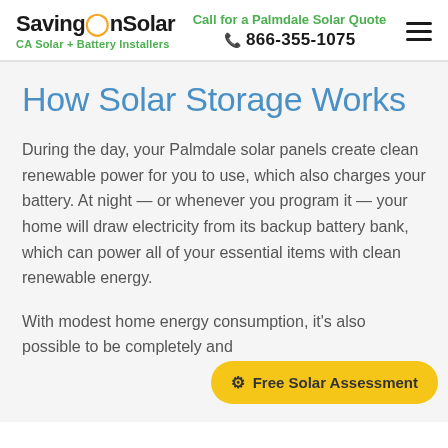SavingOnSolar — CA Solar + Battery Installers | Call for a Palmdale Solar Quote | 866-355-1075
How Solar Storage Works
During the day, your Palmdale solar panels create clean renewable power for you to use, which also charges your battery. At night — or whenever you program it — your home will draw electricity from its backup battery bank, which can power all of your essential items with clean renewable energy.
With modest home energy consumption, it's also possible to be completely and